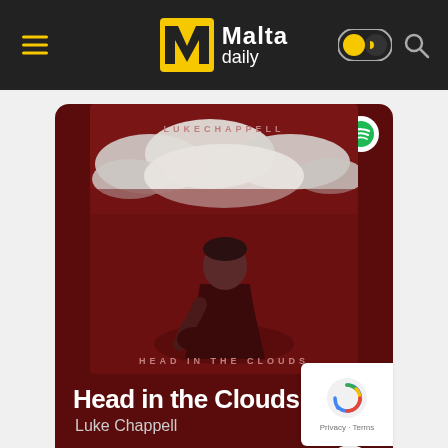Malta daily
[Figure (screenshot): Spotify embedded player card for 'Head in the Clouds' by Luke Chappell on Malta Daily website. Dark red background card with album artwork showing a person sitting with head down beneath clouds on a dark red/maroon background. Artist name 'LUKECHAPPELL' and album title 'HEAD IN THE CLOUDS' printed on the artwork. Below the image: song title 'Head in the Clouds', artist 'Luke Chappell', PREVIEW button, ellipsis dots, and a circular play button.]
Head in the Clouds
Luke Chappell